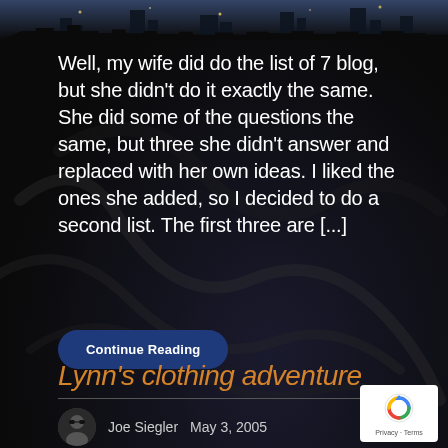[Figure (photo): City skyline photo at top of page, dark toned]
Well, my wife did do the list of 7 blog, but she didn't do it exactly the same. She did some of the questions the same, but three she didn't answer and replaced with her own ideas. I liked the ones she added, so I decided to do a second list. The first three are [...]
Continue Reading
Lynn's clothing adventure
Joe Siegler   May 3, 2005